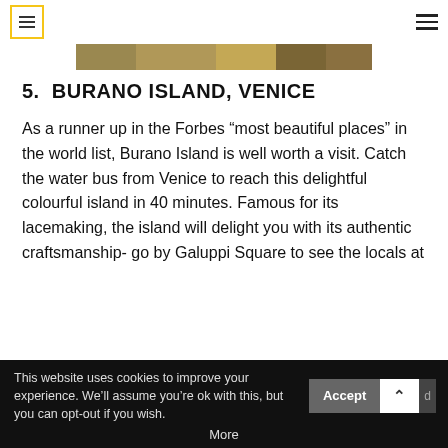[Figure (photo): Partial top edge of a photo showing a colourful scene, likely Burano Island]
5.  BURANO ISLAND, VENICE
As a runner up in the Forbes “most beautiful places” in the world list, Burano Island is well worth a visit. Catch the water bus from Venice to reach this delightful colourful island in 40 minutes. Famous for its lacemaking, the island will delight you with its authentic craftsmanship- go by Galuppi Square to see the locals at
This website uses cookies to improve your experience. We’ll assume you’re ok with this, but you can opt-out if you wish. Accept More